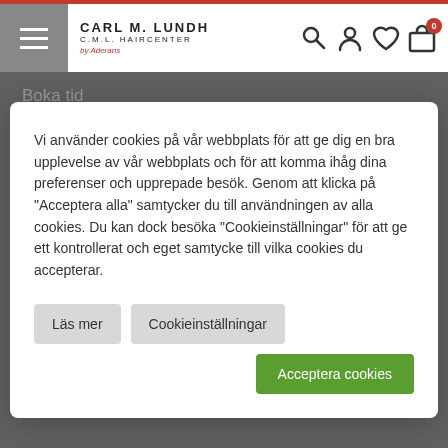CARL M. LUNDH C.M.L. HAIRCENTER by Aderans
Boka tid
Alla salonger
Vi använder cookies på vår webbplats för att ge dig en bra upplevelse av vår webbplats och för att komma ihåg dina preferenser och upprepade besök. Genom att klicka på "Acceptera alla" samtycker du till användningen av alla cookies. Du kan dock besöka "Cookieinställningar" för att ge ett kontrollerat och eget samtycke till vilka cookies du accepterar.
Peruk storlek & färg
Köpt peruk online
Om shopen
Mina sidor & logga in